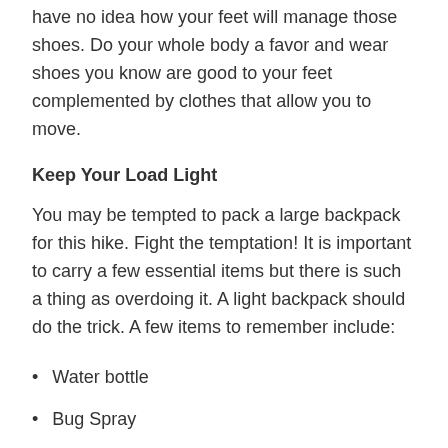have no idea how your feet will manage those shoes. Do your whole body a favor and wear shoes you know are good to your feet complemented by clothes that allow you to move.
Keep Your Load Light
You may be tempted to pack a large backpack for this hike. Fight the temptation! It is important to carry a few essential items but there is such a thing as overdoing it. A light backpack should do the trick. A few items to remember include:
Water bottle
Bug Spray
Camera